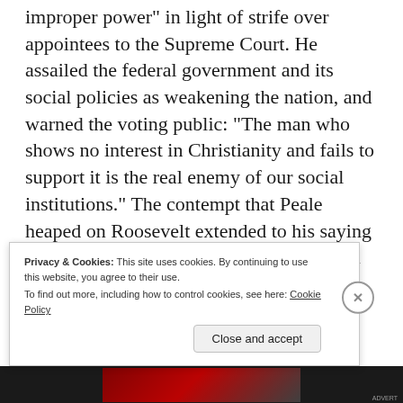improper power" in light of strife over appointees to the Supreme Court. He assailed the federal government and its social policies as weakening the nation, and warned the voting public: “The man who shows no interest in Christianity and fails to support it is the real enemy of our social institutions.” The contempt that Peale heaped on Roosevelt extended to his saying of a statesman who won an unprecedented four presidential elections, “We can pull him down when we wish.”
Privacy & Cookies: This site uses cookies. By continuing to use this website, you agree to their use.
To find out more, including how to control cookies, see here: Cookie Policy
Close and accept